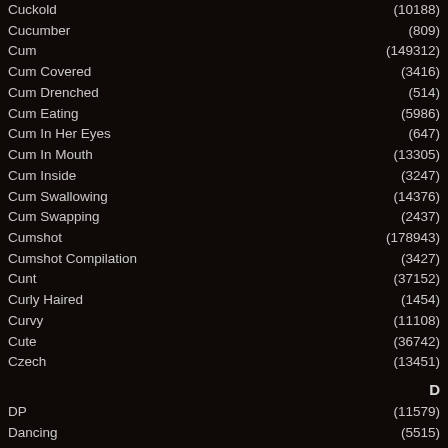| Category | Count |
| --- | --- |
| Cuckold | (10188) |
| Cucumber | (809) |
| Cum | (149312) |
| Cum Covered | (3416) |
| Cum Drenched | (514) |
| Cum Eating | (5986) |
| Cum In Her Eyes | (647) |
| Cum In Mouth | (13305) |
| Cum Inside | (3247) |
| Cum Swallowing | (14376) |
| Cum Swapping | (2437) |
| Cumshot | (178943) |
| Cumshot Compilation | (3427) |
| Cunt | (37152) |
| Curly Haired | (1454) |
| Curvy | (11108) |
| Cute | (36742) |
| Czech | (13451) |
| DP | (11579) |
| Dancing | (5515) |
| Dare | (1057) |
| Dark Hair | (4610) |
| Dating | (3085) |
| Deepthroat | (28418) |
| Desk | (1815) |
| Desperate | (1474) |
| Dick | (123203) |
| Dildo | (60986) |
| Dirty | (15200) |
| Dirty Talk | (1297) |